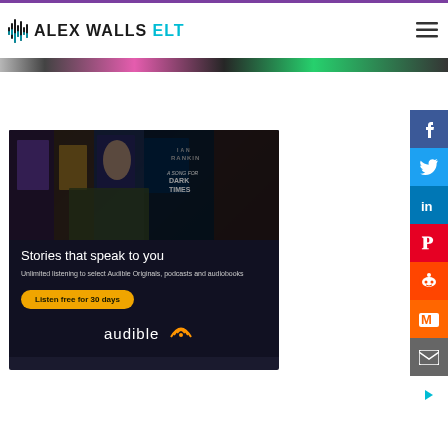[Figure (logo): Alex Walls ELT logo with waveform icon and site header with hamburger menu]
[Figure (photo): Colorful banner strip showing book covers including Ian Rankin dark times]
[Figure (photo): Audible advertisement: 'Stories that speak to you. Unlimited listening to select Audible Originals, podcasts and audiobooks. Listen free for 30 days.' with Audible logo]
[Figure (infographic): Social media share sidebar with Facebook, Twitter, LinkedIn, Pinterest, Reddit, Mix, Email buttons and a teal arrow]